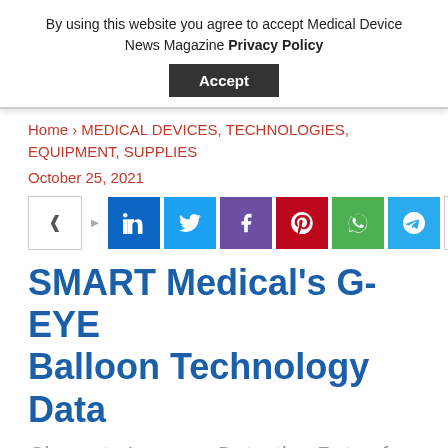By using this website you agree to accept Medical Device News Magazine Privacy Policy
Accept
Home › MEDICAL DEVICES, TECHNOLOGIES, EQUIPMENT, SUPPLIES
October 25, 2021
[Figure (other): Social media share bar with share icon, LinkedIn, Twitter, Facebook, Pinterest, WhatsApp, Telegram, and plus buttons]
SMART Medical's G-EYE Balloon Technology Data
Shown to Increase Detection Rate of Colon Adenomas Compared to